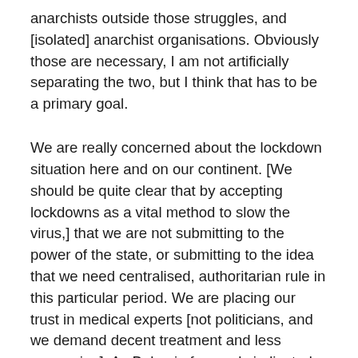anarchists outside those struggles, and [isolated] anarchist organisations. Obviously those are necessary, I am not artificially separating the two, but I think that has to be a primary goal.
We are really concerned about the lockdown situation here and on our continent. [We should be quite clear that by accepting lockdowns as a vital method to slow the virus,] that we are not submitting to the power of the state, or submitting to the idea that we need centralised, authoritarian rule in this particular period. We are placing our trust in medical experts [not politicians, and we demand decent treatment and less repression]. As Bakunin famously indicated, on the issue of shoemaking, he trusts the shoemaker. There are also lots of opinions [and conspiracy theories]